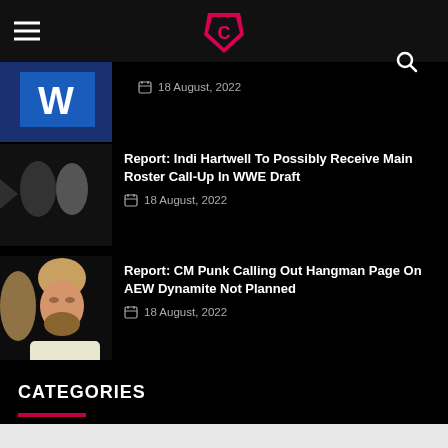Cultaholic navigation bar
18 August, 2022
Report: Indi Hartwell To Possibly Receive Main Roster Call-Up In WWE Draft
18 August, 2022
Report: CM Punk Calling Out Hangman Page On AEW Dynamite Not Planned
18 August, 2022
CATEGORIES